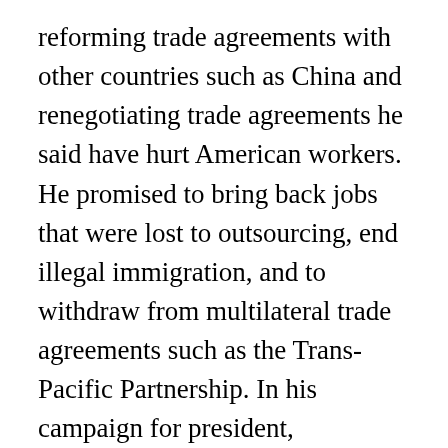reforming trade agreements with other countries such as China and renegotiating trade agreements he said have hurt American workers. He promised to bring back jobs that were lost to outsourcing, end illegal immigration, and to withdraw from multilateral trade agreements such as the Trans-Pacific Partnership. In his campaign for president,
Trump's outspoken, brash and unapologetic style of campaigning attracted domestic and international attention. His policy proposals, often poor-sourced and strongly against political correctness, were criticized by many, but embraced by millions of people who